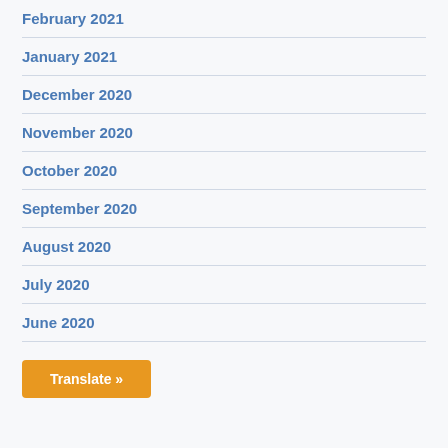February 2021
January 2021
December 2020
November 2020
October 2020
September 2020
August 2020
July 2020
June 2020
Translate »